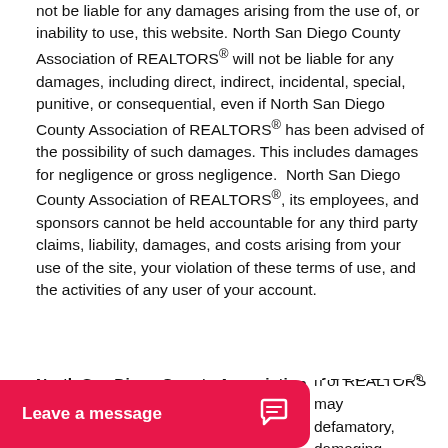not be liable for any damages arising from the use of, or inability to use, this website. North San Diego County Association of REALTORS® will not be liable for any damages, including direct, indirect, incidental, special, punitive, or consequential, even if North San Diego County Association of REALTORS® has been advised of the possibility of such damages. This includes damages for negligence or gross negligence.  North San Diego County Association of REALTORS®, its employees, and sponsors cannot be held accountable for any third party claims, liability, damages, and costs arising from your use of the site, your violation of these terms of use, and the activities of any user of your account.
North San Diego County Association of REALTORS® Rights
n of REALTORS® may defamatory, damaging,